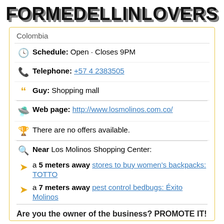FORMEDELLINLOVERS
Colombia
Schedule: Open · Closes 9PM
Telephone: +57 4 2383505
Guy: Shopping mall
Web page: http://www.losmolinos.com.co/
There are no offers available.
Near Los Molinos Shopping Center:
a 5 meters away stores to buy women's backpacks: TOTTO
a 7 meters away pest control bedbugs: Éxito Molinos
Are you the owner of the business? PROMOTE IT!